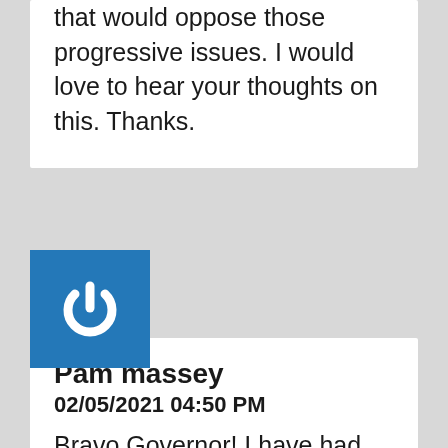that would oppose those progressive issues. I would love to hear your thoughts on this. Thanks.
[Figure (logo): Blue square with white power button icon — user avatar placeholder]
Pam massey
02/05/2021 04:50 PM
Bravo Governor! I have had this same